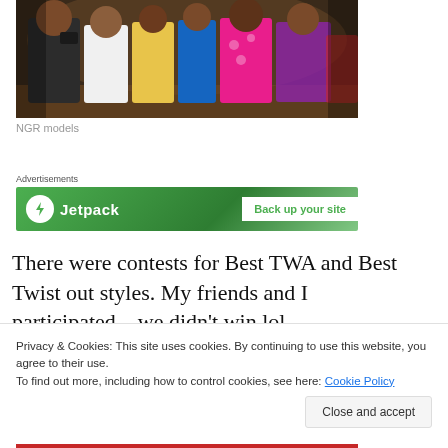[Figure (photo): Group of women at an event, one photographing with a camera, others posing in colorful dresses and outfits]
NGR models
Advertisements
[Figure (other): Jetpack advertisement banner: logo with lightning bolt icon and text 'Jetpack', with green call-to-action button 'Back up your site']
There were contests for Best TWA and Best Twist out styles. My friends and I participated…we didn't win lol.
Privacy & Cookies: This site uses cookies. By continuing to use this website, you agree to their use.
To find out more, including how to control cookies, see here: Cookie Policy